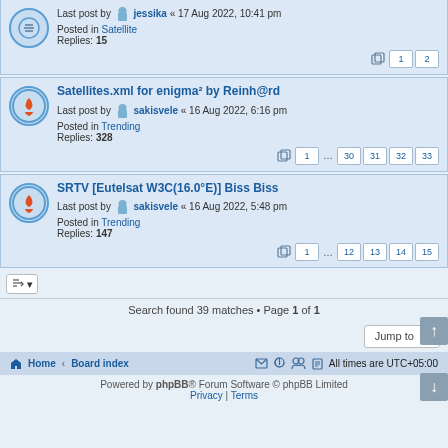Last post by jessika « 17 Aug 2022, 10:41 pm
Posted in Satellite
Replies: 15
Satellites.xml for enigma² by Reinh@rd
Last post by sakisvele « 16 Aug 2022, 6:16 pm
Posted in Trending
Replies: 328
SRTV [Eutelsat W3C(16.0°E)] Biss Biss
Last post by sakisvele « 16 Aug 2022, 5:48 pm
Posted in Trending
Replies: 147
Search found 39 matches • Page 1 of 1
Home • Board index | All times are UTC+05:00
Powered by phpBB® Forum Software © phpBB Limited
Privacy | Terms